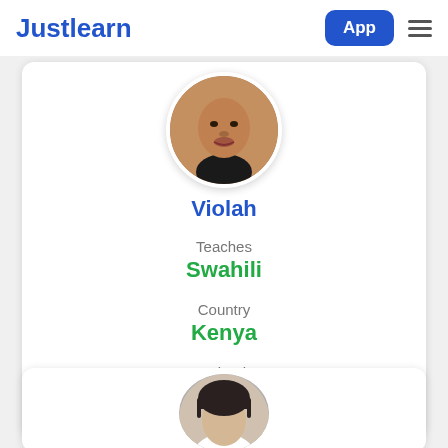Justlearn
[Figure (photo): Circular profile photo of Violah, a tutor, showing her face cropped in a circle, brown skin tones]
Violah
Teaches
Swahili
Country
Kenya
Joined
28 January, 2020
[Figure (photo): Circular profile photo of a second tutor, partially visible at bottom of page, showing dark hair]